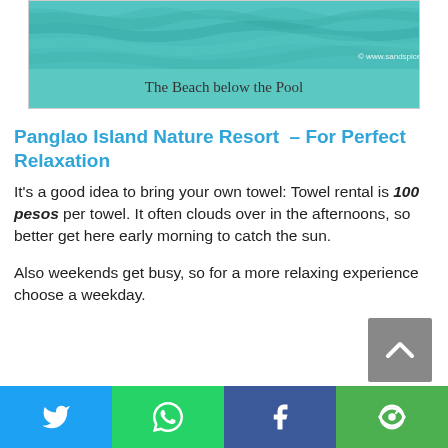[Figure (photo): Beach below a pool, water visible with sandspice.com watermark]
The Beach below the Pool
Panglao Island Nature Resort  – For Perfect Relaxation
It's a good idea to bring your own towel: Towel rental is 100 pesos per towel. It often clouds over in the afternoons, so better get here early morning to catch the sun.
Also weekends get busy, so for a more relaxing experience choose a weekday.
[Figure (photo): Partial view of another image at the bottom of the page]
[Figure (other): Social share bar with Twitter, WhatsApp, Facebook, and another social network buttons]